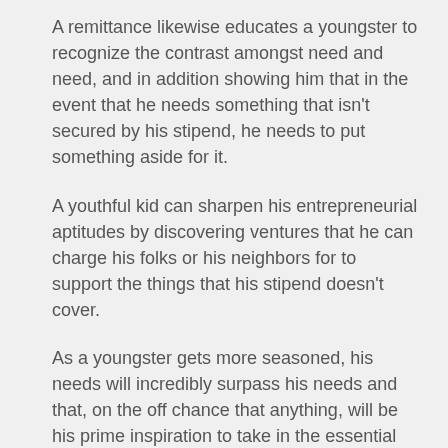A remittance likewise educates a youngster to recognize the contrast amongst need and need, and in addition showing him that in the event that he needs something that isn't secured by his stipend, he needs to put something aside for it.
A youthful kid can sharpen his entrepreneurial aptitudes by discovering ventures that he can charge his folks or his neighbors for to support the things that his stipend doesn't cover.
As a youngster gets more seasoned, his needs will incredibly surpass his needs and that, on the off chance that anything, will be his prime inspiration to take in the essential standards of fund and planning.
Whatever a kid learns at home about taking care of cash will be the building squares or the hindrances for how he manages his accounts as a grown-up.
Connie H. Deutsch is a universally known business